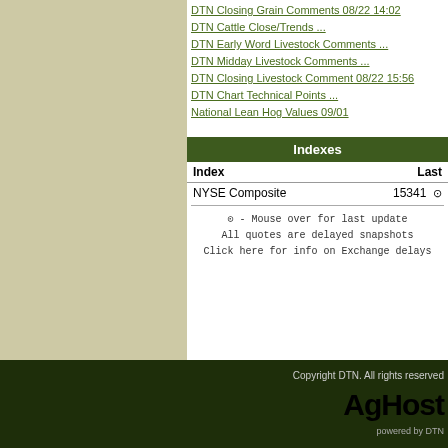DTN Closing Grain Comments 08/22 14:02
DTN Cattle Close/Trends ...
DTN Early Word Livestock Comments ...
DTN Midday Livestock Comments ...
DTN Closing Livestock Comment 08/22 15:56
DTN Chart Technical Points ...
National Lean Hog Values 09/01
Indexes
| Index | Last |
| --- | --- |
| NYSE Composite | 15341 |
- Mouse over for last update
All quotes are delayed snapshots
Click here for info on Exchange delays
Copyright DTN. All rights reserved AgHost powered by DTN